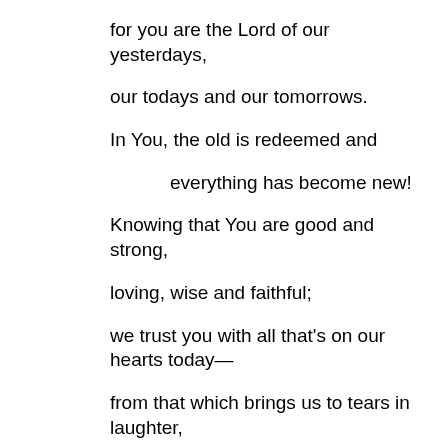for you are the Lord of our yesterdays,
our todays and our tomorrows.
In You, the old is redeemed and
everything has become new!
Knowing that You are good and strong,
loving, wise and faithful;
we trust you with all that's on our hearts today—
from that which brings us to tears in laughter,
to that which causes us to weep in sorrow.
Loving God, we thank You